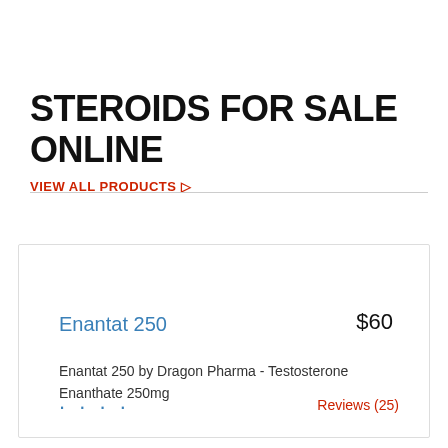STEROIDS FOR SALE ONLINE
VIEW ALL PRODUCTS →
Enantat 250
$60
Enantat 250 by Dragon Pharma - Testosterone Enanthate 250mg
. . . .
Reviews (25)